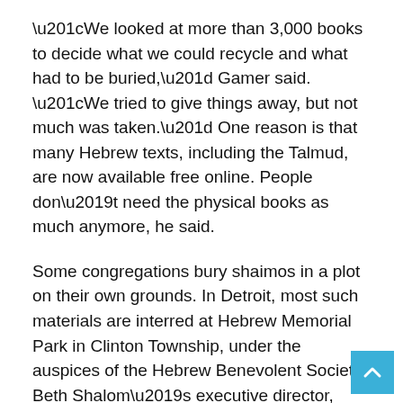“We looked at more than 3,000 books to decide what we could recycle and what had to be buried,” Gamer said. “We tried to give things away, but not much was taken.” One reason is that many Hebrew texts, including the Talmud, are now available free online. People don’t need the physical books as much anymore, he said.
Some congregations bury shaimos in a plot on their own grounds. In Detroit, most such materials are interred at Hebrew Memorial Park in Clinton Township, under the auspices of the Hebrew Benevolent Society. Beth Shalom’s executive director, Shira Shapiro, worked with cemetery officials; once they knew the number of cartons and their dimensions; cemetery workers were able to prepare a long, narrow plot just large enough to handle the materials.
A dozen synagogue members joined Gamer and Cantor Sam